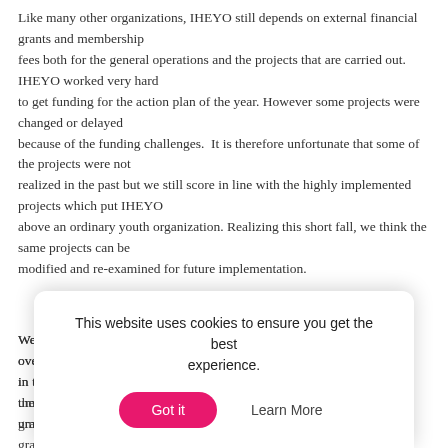Like many other organizations, IHEYO still depends on external financial grants and membership fees both for the general operations and the projects that are carried out. IHEYO worked very hard to get funding for the action plan of the year. However some projects were changed or delayed because of the funding challenges.  It is therefore unfortunate that some of the projects were not realized in the past but we still score in line with the highly implemented projects which put IHEYO above an ordinary youth organization. Realizing this short fall, we think the same projects can be modified and re-examined for future implementation.
We also agreed in the last GA in Washington that IHEYO remains and over... in the... an umbr... grass...
This website uses cookies to ensure you get the best experience.